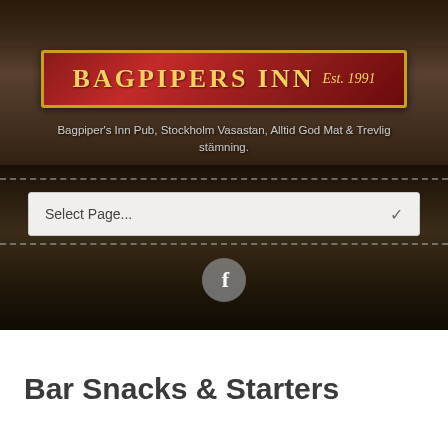[Figure (photo): Bar interior of Bagpipers Inn pub showing shelves with liquor bottles and beer taps, with the pub's sign banner visible]
Bagpiper's Inn Pub, Stockholm Vasastan, Alltid God Mat & Trevlig stämning.
Select Page...
Bar Snacks & Starters